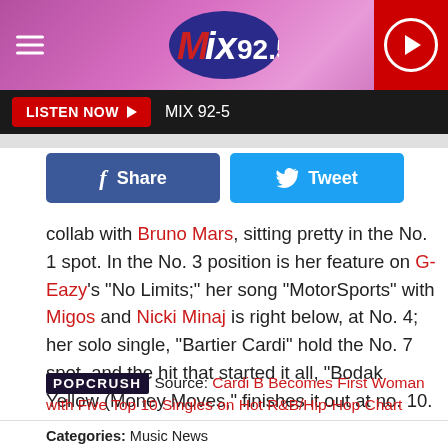[Figure (logo): Mix 92.5 radio station header with pink/purple gradient background, hamburger menu icon on left, Mix 92.5 logo in center oval, and red play button on right]
LISTEN NOW ▶  MIX 92-5
[Figure (infographic): Facebook Share button (blue) and Twitter Tweet button (cyan)]
collab with Bruno Mars, sitting pretty in the No. 1 spot. In the No. 3 position is her feature on G-Eazy's "No Limits;" her song "MotorSports" with Migos and Nicki Minaj is right below, at No. 4; her solo single, "Bartier Cardi" hold the No. 7 spot, and the hit that started it all, "Bodak Yellow (Money Moves," finishes it out at no. 10.
POPCRUSH Source: Cardi B Becomes First Woman with Five Top 10 Singles on Hot R&B/Hip-Hop Chart
Categories: Music News